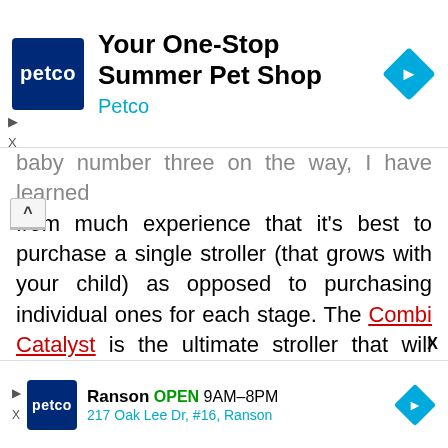[Figure (screenshot): Petco top advertisement banner with logo, headline 'Your One-Stop Summer Pet Shop', brand name 'Petco', and navigation diamond icon]
baby number three on the way, I have learned from much experience that it's best to purchase a single stroller (that grows with your child) as opposed to purchasing individual ones for each stage. The Combi Catalyst is the ultimate stroller that will allow you to save time and money with one very simple purchase. The Catalyst comes with an infant car seat adapter system, which works with the Combi Shuttle Infant Car Seat and other major infant car seat brands. On a more casual day, you can use the Catalyst in the infant mode and let your baby sleep peacefully in the very comfo...
[Figure (screenshot): Petco bottom advertisement banner with logo, Ranson store info: OPEN 9AM-8PM, 217 Oak Lee Dr, #16, Ranson, and navigation diamond icon]